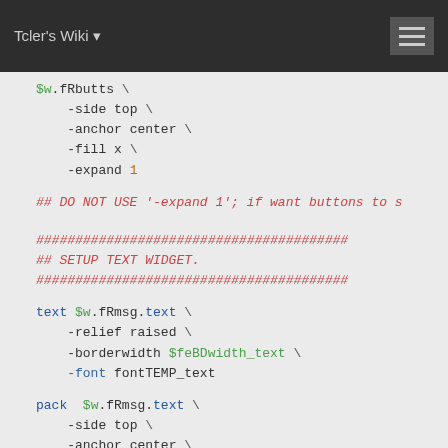Tcler's Wiki
$w.fRbutts \
    -side top \
    -anchor center \
    -fill x \
    -expand 1
## DO NOT USE '-expand 1'; if want buttons to s
########################################
## SETUP TEXT WIDGET.
########################################
text $w.fRmsg.text \
    -relief raised \
    -borderwidth $feBDwidth_text \
    -font fontTEMP_text
pack  $w.fRmsg.text \
    -side top \
    -anchor center \
    -fill both \